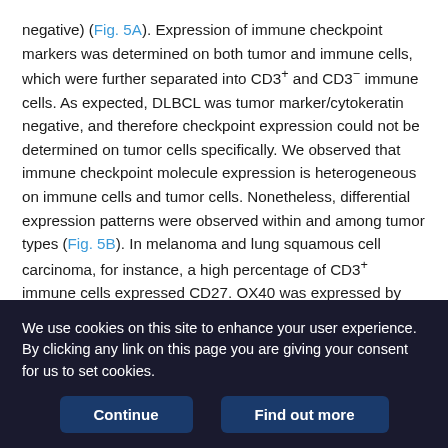negative) (Fig. 5A). Expression of immune checkpoint markers was determined on both tumor and immune cells, which were further separated into CD3+ and CD3− immune cells. As expected, DLBCL was tumor marker/cytokeratin negative, and therefore checkpoint expression could not be determined on tumor cells specifically. We observed that immune checkpoint molecule expression is heterogeneous on immune cells and tumor cells. Nonetheless, differential expression patterns were observed within and among tumor types (Fig. 5B). In melanoma and lung squamous cell carcinoma, for instance, a high percentage of CD3+ immune cells expressed CD27. OX40 was expressed by CD3+ immune cells in some cases in melanoma, lung, bladder, colorectal, head and neck, ovarian, and breast carcinoma. PD-1
We use cookies on this site to enhance your user experience. By clicking any link on this page you are giving your consent for us to set cookies.